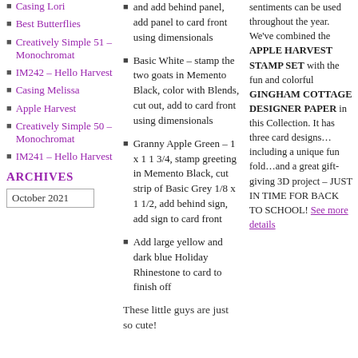Casing Lori
Best Butterflies
Creatively Simple 51 – Monochromat
IM242 – Hello Harvest
Casing Melissa
Apple Harvest
Creatively Simple 50 – Monochromat
IM241 – Hello Harvest
ARCHIVES
October 2021
and add behind panel, add panel to card front using dimensionals
Basic White – stamp the two goats in Memento Black, color with Blends, cut out, add to card front using dimensionals
Granny Apple Green – 1 x 1 1 3/4, stamp greeting in Memento Black, cut strip of Basic Grey 1/8 x 1 1/2, add behind sign, add sign to card front
Add large yellow and dark blue Holiday Rhinestone to card to finish off
These little guys are just so cute!
sentiments can be used throughout the year.  We've combined the APPLE HARVEST STAMP SET with the fun and colorful GINGHAM COTTAGE DESIGNER PAPER in this Collection.  It has three card designs… including a unique fun fold…and a great gift-giving 3D project – JUST IN TIME FOR BACK TO SCHOOL!  See more details